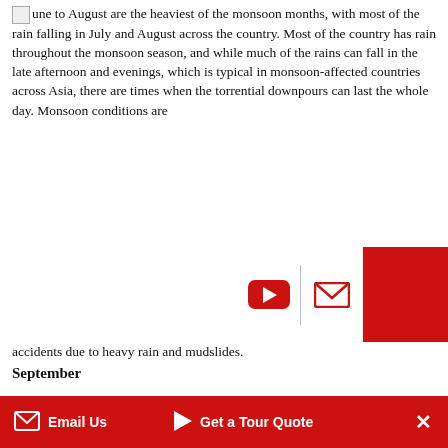June to August are the heaviest of the monsoon months, with most of the rain falling in July and August across the country. Most of the country has rain throughout the monsoon season, and while much of the rains can fall in the late afternoon and evenings, which is typical in monsoon-affected countries across Asia, there are times when the torrential downpours can last the whole day. Monsoon conditions are
[Figure (screenshot): Social media/sharing UI overlay with YouTube play button icon, mail/envelope icon, and a red block on the right]
accidents due to heavy rain and mudslides.
September
September is the tail end of the monsoon season, and the possibility of trekking largely depends on the severity of the monsoon rains and the season. Most of the time, September has a lot less rain than from June to August, and several of the treks can be done. However, there is no guarantee, and you will need to check the weather frequently to know whether it will be suitable for trekking or not.
What to Pack for Trekking in Bhutan in Different
[Figure (screenshot): Bottom navigation bar with red background: Email Us button, Get a Tour Quote button, and X close button]